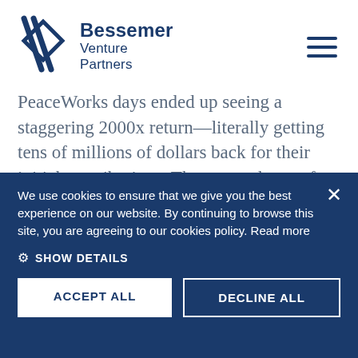[Figure (logo): Bessemer Venture Partners logo with geometric diamond/slash icon and text 'Bessemer Venture Partners' in dark navy blue]
PeaceWorks days ended up seeing a staggering 2000x return—literally getting tens of millions of dollars back for their initial contributions. They earned more for every dollar invested than even Apple's early
We use cookies to ensure that we give you the best experience on our website. By continuing to browse this site, you are agreeing to our cookies policy. Read more
SHOW DETAILS
ACCEPT ALL
DECLINE ALL